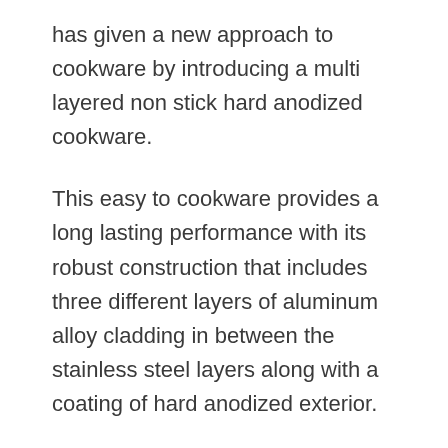has given a new approach to cookware by introducing a multi layered non stick hard anodized cookware.
This easy to cookware provides a long lasting performance with its robust construction that includes three different layers of aluminum alloy cladding in between the stainless steel layers along with a coating of hard anodized exterior.
This multi cladded structure with a hard anodized exterior changes your entire cooking experience by accelerating the heat distribution and retention; moreover, it does not possess